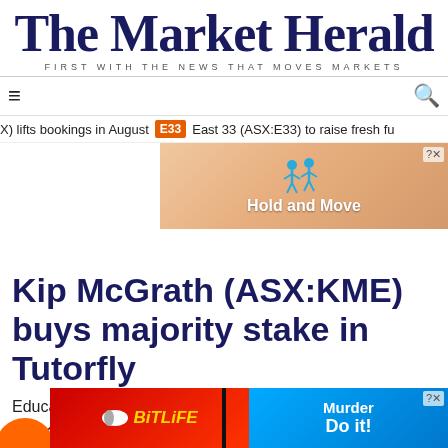The Market Herald — FIRST WITH THE NEWS THAT MOVES MARKETS
≡  🔍
X) lifts bookings in August  E33  East 33 (ASX:E33) to raise fresh fu
[Figure (screenshot): Animated game advertisement banner showing cartoon figures and text 'Hold and Move']
Kip McGrath (ASX:KME) buys majority stake in Tutorfly
Education
ASX:K
[Figure (screenshot): Two game advertisement banners: BitLife on left with red background, Murder Do it! on right with blue background]